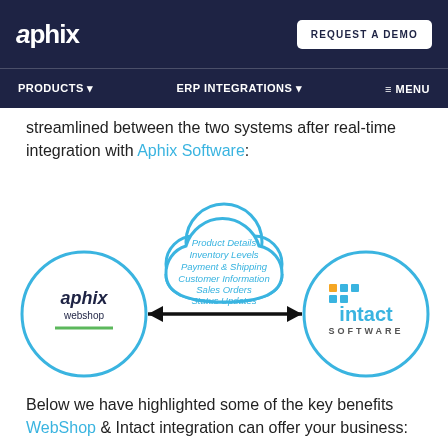aphix | REQUEST A DEMO | PRODUCTS ▼ | ERP INTEGRATIONS ▼ | ≡ MENU
streamlined between the two systems after real-time integration with Aphix Software:
[Figure (infographic): Integration diagram showing Aphix Webshop circle on left, Intact Software circle on right, connected by a double-headed arrow, with a cloud shape in the center containing: Product Details, Inventory Levels, Payment & Shipping, Customer Information, Sales Orders, Status Updates]
Below we have highlighted some of the key benefits WebShop & Intact integration can offer your business: